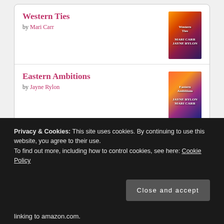Western Ties
by Mari Carr
[Figure (photo): Book cover for Western Ties by Mari Carr and Jayne Rylon]
Eastern Ambitions
by Jayne Rylon
[Figure (photo): Book cover for Eastern Ambitions by Jayne Rylon and Mari Carr]
[Figure (logo): Goodreads logo button]
Privacy & Cookies: This site uses cookies. By continuing to use this website, you agree to their use.
To find out more, including how to control cookies, see here: Cookie Policy
Close and accept
linking to amazon.com.